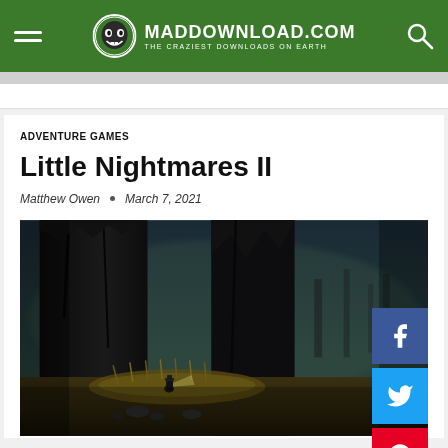MADDOWNLOAD.COM — THE CRAZIEST DOWNLOADS ON EARTH
ADVENTURE GAMES
Little Nightmares II
Matthew Owen  ◦  March 7, 2021
[Figure (photo): Dark atmospheric game scene showing two large tree stumps in a foggy forest environment with a small character figure visible at the base, game screenshot from Little Nightmares II]